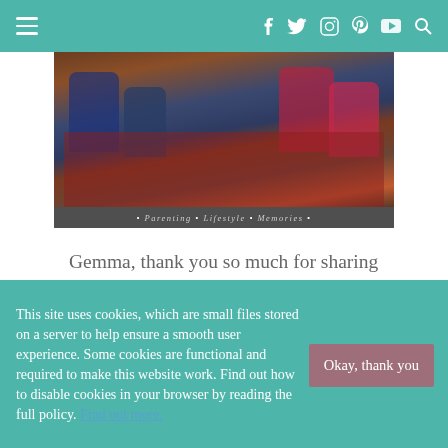≡  f  twitter  instagram  pinterest  youtube  search
[Figure (photo): Family photo with children sitting on a plaid blanket outdoors, with overlay text: • Parenting • Lifestyle • Memories •]
Gemma, thank you so much for sharing your story. Especially on such a poignant day  I can't bear to think of how you and your family must feel
This site uses cookies, which are small files stored on a server to help ensure a smooth user experience. Some cookies are functional and required to make this website work. Find out how to disable cookies in your browser by reading the full policy. Find out more.